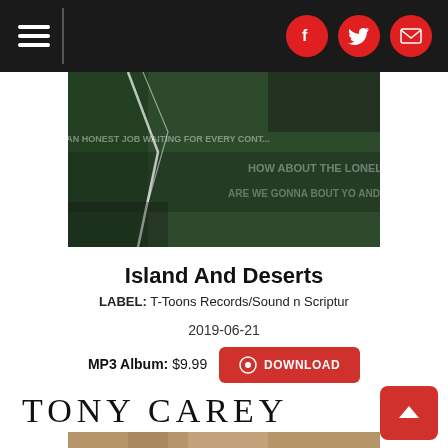Navigation bar with hamburger menu and social icons (Facebook, Twitter, Email)
[Figure (photo): Album cover art - dark green textured background with faded text overlay reading 'AN HONEST JOB WAITING FOR EVERY... HOW ABOUT THE LONELY PEOPLE... ARE WE GONNA BOUT YO... AND AN...']
Island And Deserts
LABEL: T-Toons Records/Sound n Scriptur
2019-06-21
MP3 Album: $9.99  DOWNLOAD
TONY CAREY
[Figure (photo): Bottom portion of a portrait photo of Tony Carey]